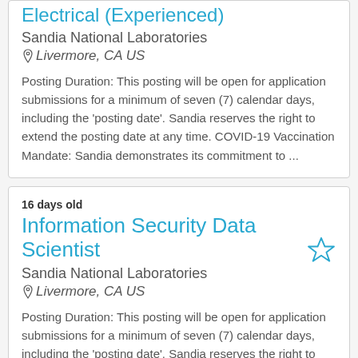Electrical (Experienced)
Sandia National Laboratories
Livermore, CA US

Posting Duration: This posting will be open for application submissions for a minimum of seven (7) calendar days, including the 'posting date'. Sandia reserves the right to extend the posting date at any time. COVID-19 Vaccination Mandate: Sandia demonstrates its commitment to ...
16 days old
Information Security Data Scientist
Sandia National Laboratories
Livermore, CA US

Posting Duration: This posting will be open for application submissions for a minimum of seven (7) calendar days, including the 'posting date'. Sandia reserves the right to extend the posting date at any time. COVID-19 Vaccination Mandate: Sandia demonstrates its commitment to